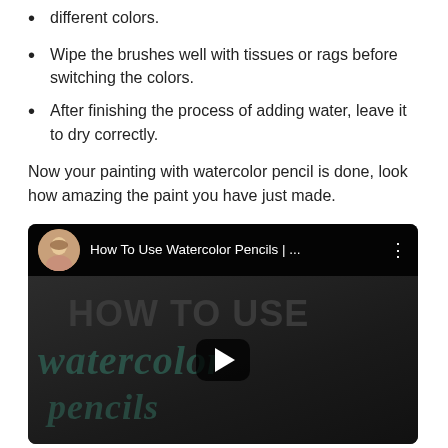different colors.
Wipe the brushes well with tissues or rags before switching the colors.
After finishing the process of adding water, leave it to dry correctly.
Now your painting with watercolor pencil is done, look how amazing the paint you have just made.
[Figure (screenshot): Embedded YouTube video thumbnail titled 'How To Use Watercolor Pencils | ...' showing dark background with bold text 'HOW TO USE watercolor pencils' and a play button in the center.]